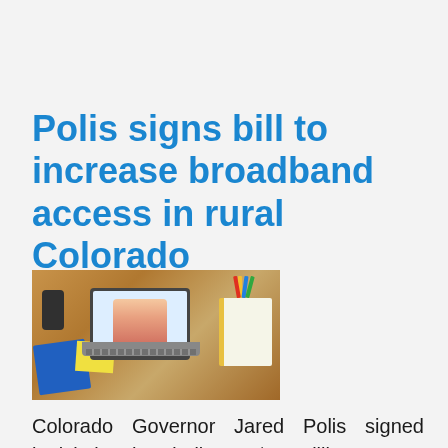Polis signs bill to increase broadband access in rural Colorado
[Figure (photo): Overhead view of a desk with a laptop showing a video call of a teacher presenting, a spiral notebook, a phone, blue folder, yellow sticky notes, and pencils/pens in a cup.]
Colorado Governor Jared Polis signed legislation that dedicates $75 million to